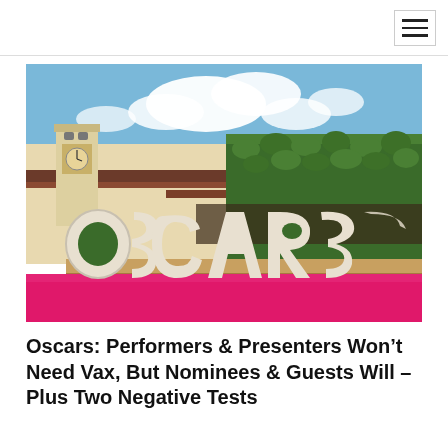[Figure (photo): Outdoor photo of the Oscars venue showing large white 3D OSCARS letters on a bright pink/magenta carpet in front of a white Spanish Colonial building with a clock tower, green hedges, and a blue sky with white clouds.]
Oscars: Performers & Presenters Won’t Need Vax, But Nominees & Guests Will – Plus Two Negative Tests